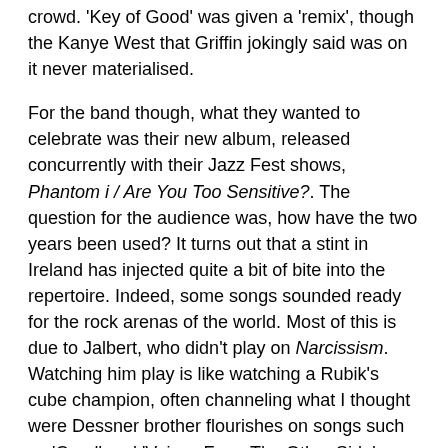crowd. 'Key of Good' was given a 'remix', though the Kanye West that Griffin jokingly said was on it never materialised.
For the band though, what they wanted to celebrate was their new album, released concurrently with their Jazz Fest shows, Phantom i / Are You Too Sensitive?. The question for the audience was, how have the two years been used? It turns out that a stint in Ireland has injected quite a bit of bite into the repertoire. Indeed, some songs sounded ready for the rock arenas of the world. Most of this is due to Jalbert, who didn't play on Narcissism. Watching him play is like watching a Rubik's cube champion, often channeling what I thought were Dessner brother flourishes on songs such as 'Carol' and 'Voices From The Other Side'. Rightly credited as a maestro by Griffin, Jalbert didn't seem to even drop a sweat whilst playing soaring melodies or crashing rhythms.
[soundcloud url="https://api.soundcloud.com/tracks/269159781" params="auto_play=false&hide_related=false&show_comme